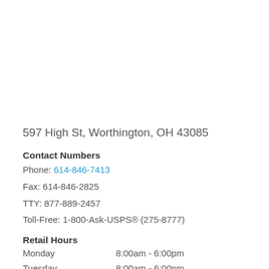597 High St, Worthington, OH 43085
Contact Numbers
Phone: 614-846-7413
Fax: 614-846-2825
TTY: 877-889-2457
Toll-Free: 1-800-Ask-USPS® (275-8777)
Retail Hours
Monday   8:00am - 6:00pm
Tuesday   8:00am - 6:00pm
Wednesday   8:00am - 6:00pm